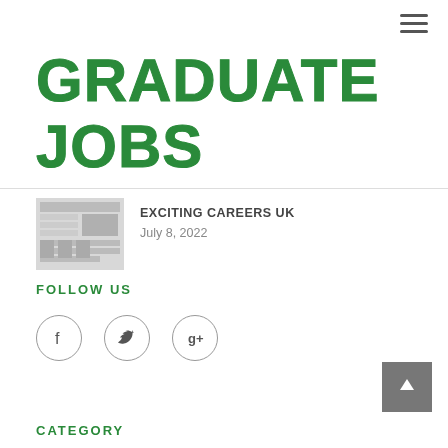[Figure (logo): Graduate Jobs website logo in large green hand-painted style text]
EXCITING CAREERS UK
July 8, 2022
FOLLOW US
[Figure (illustration): Social media icons: Facebook (f), Twitter (bird), Google+ (g+) in circular outlines]
CATEGORY